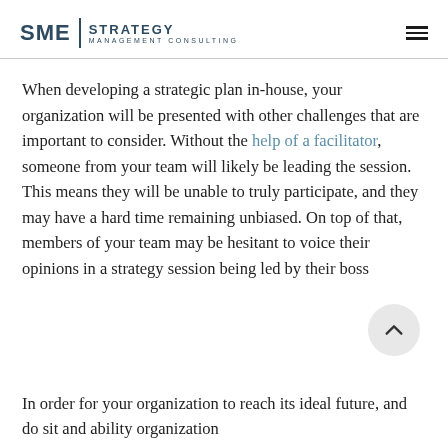SME | STRATEGY MANAGEMENT CONSULTING
When developing a strategic plan in-house, your organization will be presented with other challenges that are important to consider. Without the help of a facilitator, someone from your team will likely be leading the session. This means they will be unable to truly participate, and they may have a hard time remaining unbiased. On top of that, members of your team may be hesitant to voice their opinions in a strategy session being led by their boss
In order for your organization to reach its ideal future, and we sit and and the ability organization